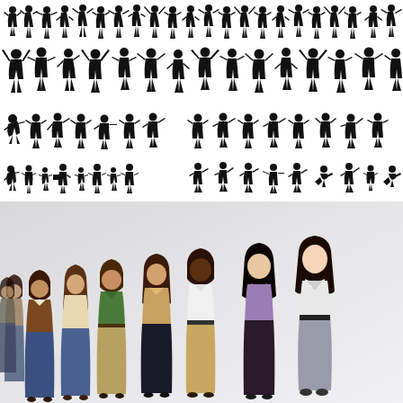[Figure (illustration): Multiple rows of black silhouettes of people in various active poses — jumping, running, dancing, standing, walking. Top half of the page on white background.]
[Figure (illustration): Colorful illustration of a diverse group of people standing in a line/queue, rendered in a modern flat cartoon style. They are facing forward and slightly diagonal, showing varied clothing and ethnicities. Background is light gray gradient.]